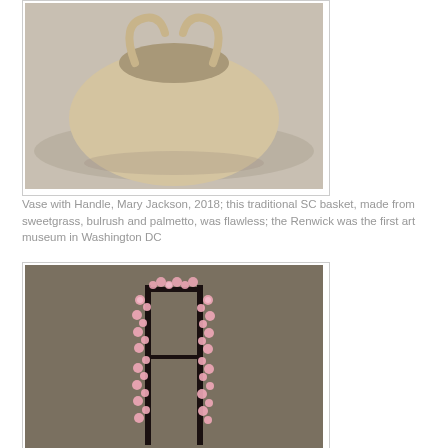[Figure (photo): Woven sweetgrass basket vase with handle, photographed on display surface against grey background. The basket has a dome shape with intricate woven pattern and a looped handle on top.]
Vase with Handle, Mary Jackson, 2018; this traditional SC basket, made from sweetgrass, bulrush and palmetto, was flawless; the Renwick was the first art museum in Washington DC
[Figure (photo): Sculpture of cherry blossoms (pink flowers) arranged on dark branches/stems forming a vertical rectangular shape against a dark grey/brown background.]